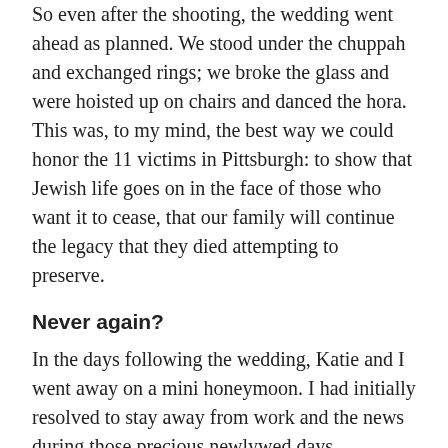So even after the shooting, the wedding went ahead as planned. We stood under the chuppah and exchanged rings; we broke the glass and were hoisted up on chairs and danced the hora. This was, to my mind, the best way we could honor the 11 victims in Pittsburgh: to show that Jewish life goes on in the face of those who want it to cease, that our family will continue the legacy that they died attempting to preserve.
Never again?
In the days following the wedding, Katie and I went away on a mini honeymoon. I had initially resolved to stay away from work and the news during those precious newlywed days.
But the enormity of the Pittsburgh shooting hit home after the wedding ended, and I could not stop